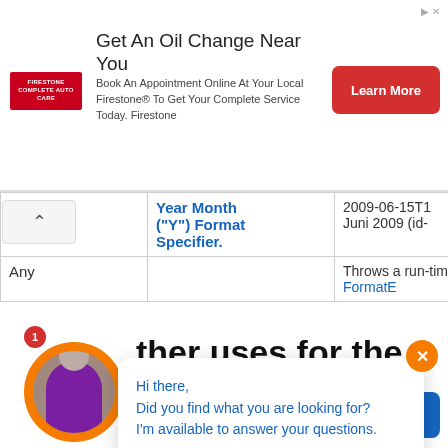[Figure (infographic): Firestone advertisement banner: 'Get An Oil Change Near You' with logo, body text, and red Learn More button]
|  | Format Specifier | Result |
| --- | --- | --- |
|  | Year Month ("Y") Format Specifier. | 2009-06-15T1
Juni 2009 (id- |
| Any |  | Throws a run-time FormatE |
[Figure (screenshot): Chat popup with orange close button, message: Hi there, Did you find what you are looking for? I'm available to answer your questions.]
ther uses for the formatDataTime flow